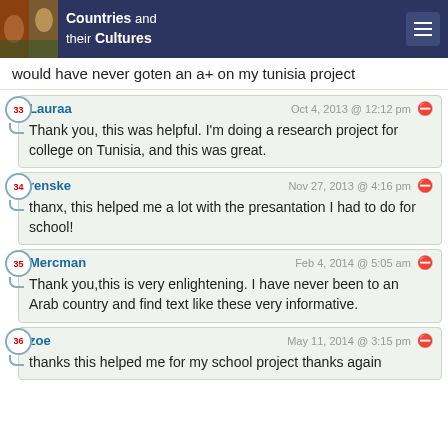Countries and their Cultures
would have never goten an a+ on my tunisia project
Lauraa  Oct 4, 2013 @ 12:12 pm
Thank you, this was helpful. I'm doing a research project for college on Tunisia, and this was great.
renske  Nov 27, 2013 @ 4:16 pm
thanx, this helped me a lot with the presantation I had to do for school!
Mercman  Feb 4, 2014 @ 5:05 am
Thank you,this is very enlightening. I have never been to an Arab country and find text like these very informative.
zoe  May 11, 2014 @ 3:15 pm
thanks this helped me for my school project thanks again